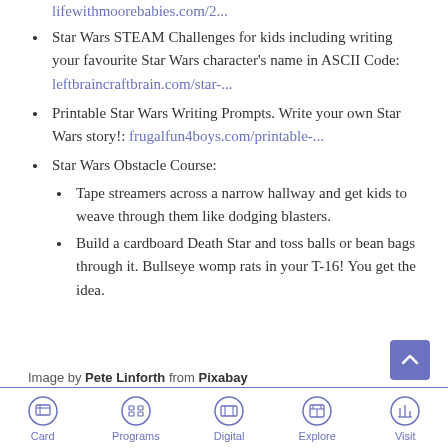lifewithmoorebabies.com/2...
Star Wars STEAM Challenges for kids including writing your favourite Star Wars character’s name in ASCII Code: leftbraincraftbrain.com/star-...
Printable Star Wars Writing Prompts. Write your own Star Wars story!: frugalfun4boys.com/printable-...
Star Wars Obstacle Course:
Tape streamers across a narrow hallway and get kids to weave through them like dodging blasters.
Build a cardboard Death Star and toss balls or bean bags through it. Bullseye womp rats in your T-16! You get the idea.
Image by Pete Linforth from Pixabay
Card | Programs | Digital | Explore | Visit